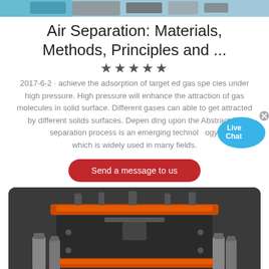[Figure (photo): Top banner image with industrial/technical content in blue and grey tones]
Air Separation: Materials, Methods, Principles and ...
★★★★★
2017-6-2 · achieve the adsorption of target ed gas spe cies under high pressure. High pressure will enhance the attraction of gas molecules in solid surface. Different gases can able to get attracted by different solids surfaces. Depen ding upon the Abstract Air separation process is an emerging technol ogy, which is widely used in many fields.
[Figure (illustration): Live Chat bubble icon with X close button]
Send a message to us
[Figure (photo): Industrial air separation equipment with orange rings, black cylinders, and gas cylinders]